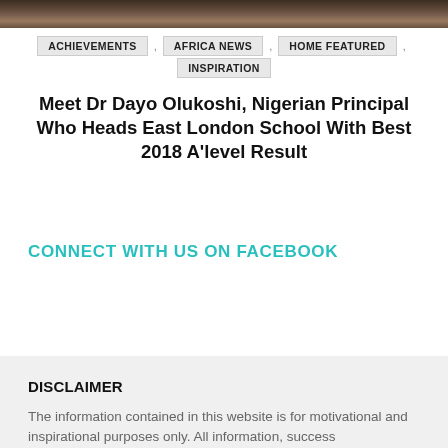[Figure (photo): Photo strip at top of page showing a person, partially cropped]
ACHIEVEMENTS , AFRICA NEWS , HOME FEATURED , INSPIRATION
Meet Dr Dayo Olukoshi, Nigerian Principal Who Heads East London School With Best 2018 A'level Result
CONNECT WITH US ON FACEBOOK
DISCLAIMER
The information contained in this website is for motivational and inspirational purposes only. All information, success